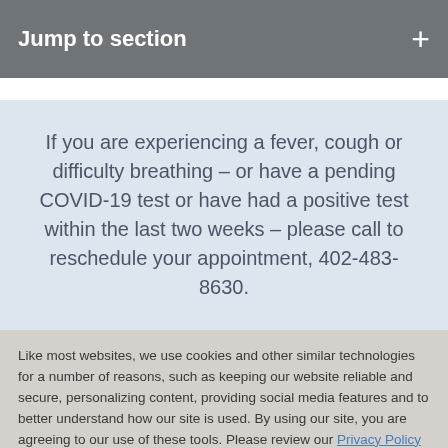Jump to section
If you are experiencing a fever, cough or difficulty breathing – or have a pending COVID-19 test or have had a positive test within the last two weeks – please call to reschedule your appointment, 402-483-8630.
Like most websites, we use cookies and other similar technologies for a number of reasons, such as keeping our website reliable and secure, personalizing content, providing social media features and to better understand how our site is used. By using our site, you are agreeing to our use of these tools. Please review our Privacy Policy to learn more.